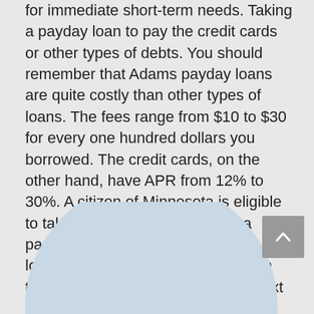for immediate short-term needs. Taking a payday loan to pay the credit cards or other types of debts. You should remember that Adams payday loans are quite costly than other types of loans. The fees range from $10 to $30 for every one hundred dollars you borrowed. The credit cards, on the other hand, have APR from 12% to 30%. A citizen of Minnesota is eligible to take only one payday loan at a particular time. Multiple short-term loans by a person are not allowed in the state. Your application for the next loan will only get approved after your last one is closed.
[Figure (photo): Circular cropped photo showing two people in business attire doing a fist bump or handshake, on a light blue-grey background]